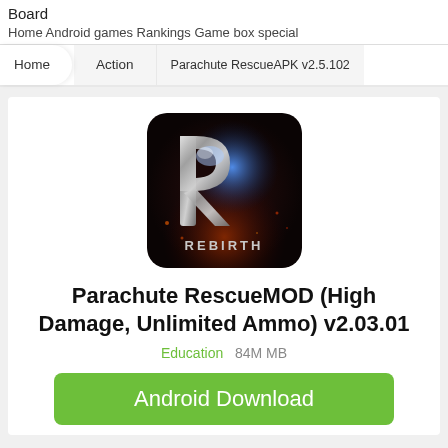Board
Home Android games Rankings Game box special
Home   Action   Parachute RescueAPK v2.5.102
[Figure (logo): App icon for Rebirth game — stylized metallic R letter with blue light glow on dark background with red ember effects, text REBIRTH at bottom]
Parachute RescueMOD (High Damage, Unlimited Ammo) v2.03.01
Education   84M MB
Android Download